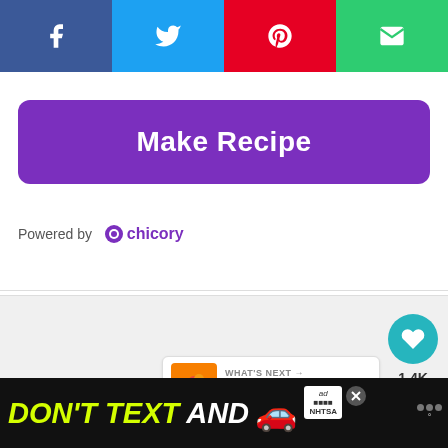[Figure (infographic): Social sharing bar with four colored buttons: Facebook (blue-grey), Twitter (light blue), Pinterest (red), Email (green), each with a white icon]
[Figure (infographic): Purple 'Make Recipe' button with rounded corners]
Powered by chicory
[Figure (infographic): Gray content area with floating heart button (teal, 1.4K count) and share button, plus 'WHAT'S NEXT' card showing Sonic Copycat Cherry...]
[Figure (infographic): Black advertisement bar at the bottom: DON'T TEXT AND [car emoji] with NHTSA badge and weather app icon]